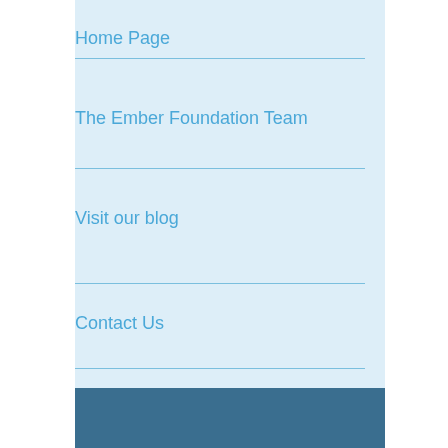Home Page
The Ember Foundation Team
Visit our blog
Contact Us